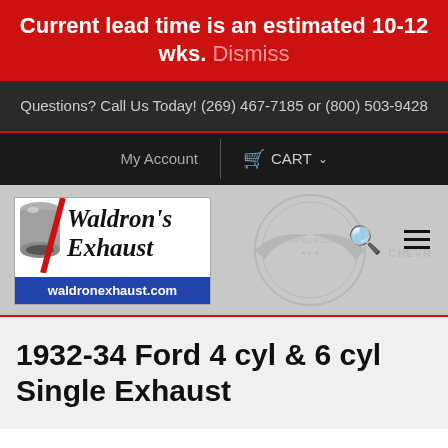Current lead time is an estimated 10-12 wks. Dismiss
Questions? Call Us Today! (269) 467-7185 or (800) 503-9428
My Account   CART
[Figure (logo): Waldron's Exhaust logo with exhaust pipe graphic and website waldronexhaust.com on blue bar]
1932-34 Ford 4 cyl & 6 cyl Single Exhaust